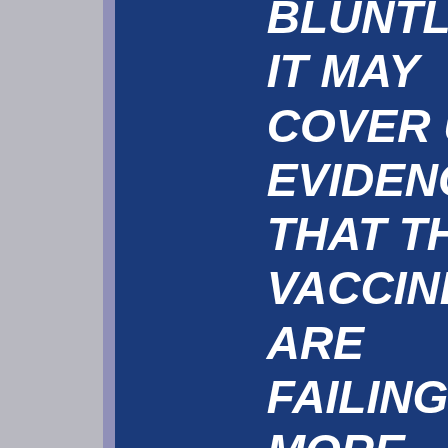BLUNTLY IT MAY COVER UP EVIDENCE THAT THE VACCINES ARE FAILING AND MORE DOUBLE VACCINATED PEOPLE ARE FALLING THAN UNVACCINATED ARE FALLING